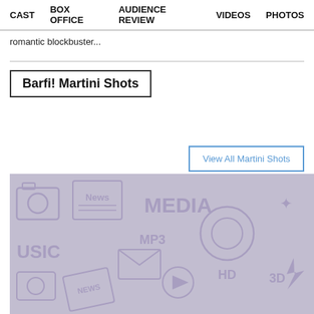CAST   BOX OFFICE   AUDIENCE REVIEW   VIDEOS   PHOTOS
romantic blockbuster...
Barfi! Martini Shots
View All Martini Shots
[Figure (illustration): Media-themed decorative background with icons for news, music, MP3, HD, media, camera, envelope, and other media-related symbols in a grey/lavender color scheme]